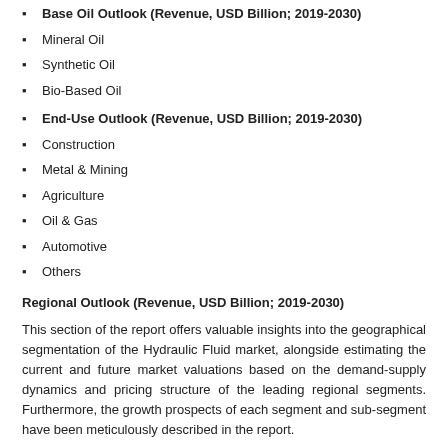Base Oil Outlook (Revenue, USD Billion; 2019-2030)
Mineral Oil
Synthetic Oil
Bio-Based Oil
End-Use Outlook (Revenue, USD Billion; 2019-2030)
Construction
Metal & Mining
Agriculture
Oil & Gas
Automotive
Others
Regional Outlook (Revenue, USD Billion; 2019-2030)
This section of the report offers valuable insights into the geographical segmentation of the Hydraulic Fluid market, alongside estimating the current and future market valuations based on the demand-supply dynamics and pricing structure of the leading regional segments. Furthermore, the growth prospects of each segment and sub-segment have been meticulously described in the report.